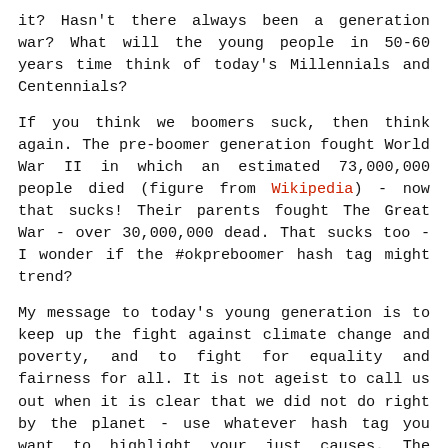it? Hasn't there always been a generation war? What will the young people in 50-60 years time think of today's Millennials and Centennials?
If you think we boomers suck, then think again. The pre-boomer generation fought World War II in which an estimated 73,000,000 people died (figure from Wikipedia) - now that sucks! Their parents fought The Great War - over 30,000,000 dead. That sucks too - I wonder if the #okpreboomer hash tag might trend?
My message to today's young generation is to keep up the fight against climate change and poverty, and to fight for equality and fairness for all. It is not ageist to call us out when it is clear that we did not do right by the planet - use whatever hash tag you want to highlight your just causes. The Boomer generation are slowly retiring, and your turn to rule the world will come soon - I hope you don't let future generations down. World leaders like Leo Varadkar (40), Emmanuel Macron (41), and Justin Trudeau (47) are way younger than me (60) - the torch is slowly passing. We are still stuck with some oldies like Donald Trump (73), Angela